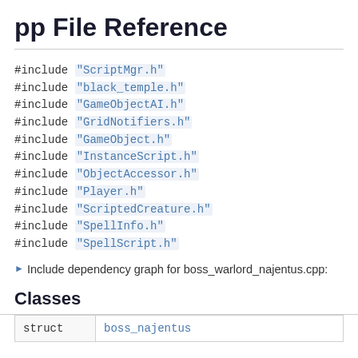pp File Reference
#include "ScriptMgr.h"
#include "black_temple.h"
#include "GameObjectAI.h"
#include "GridNotifiers.h"
#include "GameObject.h"
#include "InstanceScript.h"
#include "ObjectAccessor.h"
#include "Player.h"
#include "ScriptedCreature.h"
#include "SpellInfo.h"
#include "SpellScript.h"
Include dependency graph for boss_warlord_najentus.cpp:
Classes
|  |  |
| --- | --- |
| struct | boss_najentus |